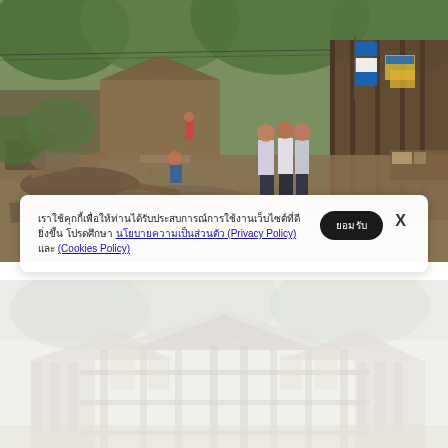[Figure (photo): Outdoor scene in an informal settlement or flood-affected area. People including men in formal business attire stand talking on a debris-strewn path between wooden structures and greenery.]
เราใช้คุกกี้เพื่อให้ท่านได้รับประสบการณ์การใช้งานเว็บไซต์ที่ดียิ่งขึ้น โปรดศึกษา นโยบายความเป็นส่วนตัว (Privacy Policy) และ (Cookies Policy)
[Figure (photo): Faded, washed-out image of a traditional Thai-style wooden house or building structure surrounded by trees, appearing bleached or overexposed.]